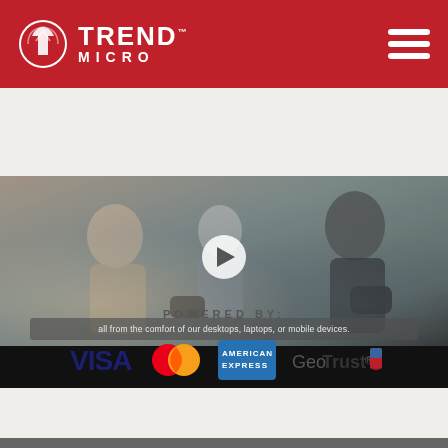[Figure (logo): Trend Micro logo with red globe icon and white TREND MICRO text on red header background, with hamburger menu icon on the right]
[Figure (screenshot): Video player showing a family (woman and child) playing video games with controllers, with a play button overlay and subtitle text: 'all from the comfort of our desktops, laptops, or mobile devices.']
POWERED BY:
[Figure (infographic): Payment/trust logos: VISA (blue), MasterCard (red/orange circles), American Express (blue), GeoTrust (blue text with logo)]